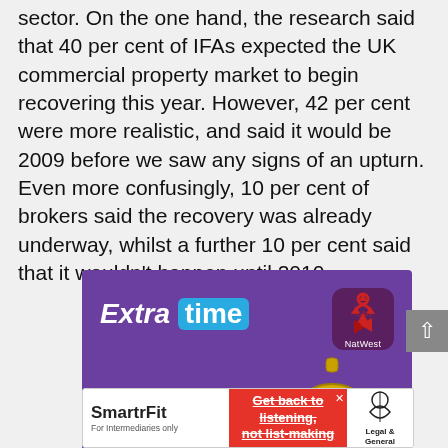sector. On the one hand, the research said that 40 per cent of IFAs expected the UK commercial property market to begin recovering this year. However, 42 per cent were more realistic, and said it would be 2009 before we saw any signs of an upturn. Even more confusingly, 10 per cent of brokers said the recovery was already underway, whilst a further 10 per cent said that it wouldn't happen until 2010.
[Figure (other): NatWest 'Extra time' advertisement on purple background with pocket watch graphic. Text: 'Extra time', 'We've extended the roll off period on our...', NatWest logo top right.]
[Figure (other): SmartrFit advertisement banner. Left: 'SmartrFit - For Intermediaries only'. Center red section: 'Get back to listening, not list-making' with strikethrough. Right: Legal & General logo with umbrella.]